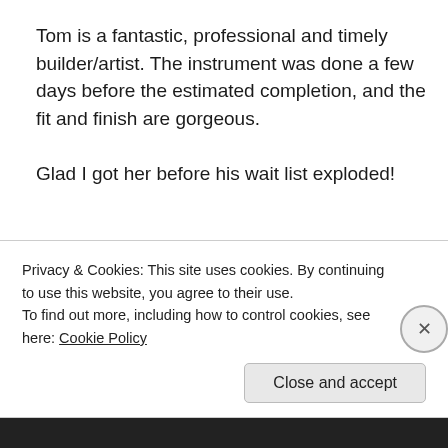Tom is a fantastic, professional and timely builder/artist. The instrument was done a few days before the estimated completion, and the fit and finish are gorgeous.

Glad I got her before his wait list exploded!
July 4, 2013   Leave a Reply
Privacy & Cookies: This site uses cookies. By continuing to use this website, you agree to their use.
To find out more, including how to control cookies, see here: Cookie Policy